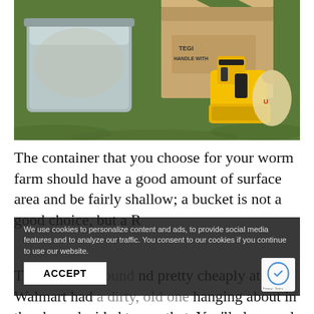[Figure (photo): Photo of a grey plastic storage tub, a cardboard box labeled 'HANDLE WITH', a yellow DeWalt cordless drill/tool, and a plastic bag sitting on grass outdoors.]
The container that you choose for your worm farm should have a good amount of surface area and be fairly shallow; a bucket is not a good choice, but a R...
These can be found pretty cheaply at Walmart had a dirty, old one hanging about in the shop, decided to use that. You'll also need a lid to go with
We use cookies to personalize content and ads, to provide social media features and to analyze our traffic. You consent to our cookies if you continue to use our website.
ACCEPT